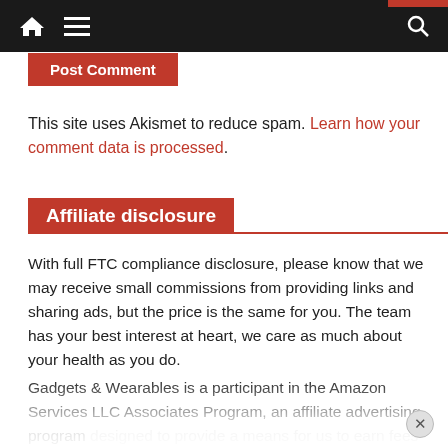Navigation bar with home, menu, and search icons
Post Comment
This site uses Akismet to reduce spam. Learn how your comment data is processed.
Affiliate disclosure
With full FTC compliance disclosure, please know that we may receive small commissions from providing links and sharing ads, but the price is the same for you. The team has your best interest at heart, we care as much about your health as you do.
Gadgets & Wearables is a participant in the Amazon Services LLC Associates Program, an affiliate advertising program designed to provide a means for us to earn fees by linking to Amazon.com and affiliated sites. As an Amazon Associate we